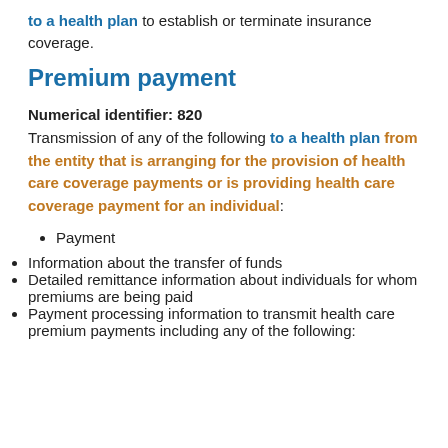to a health plan to establish or terminate insurance coverage.
Premium payment
Numerical identifier: 820
Transmission of any of the following to a health plan from the entity that is arranging for the provision of health care coverage payments or is providing health care coverage payment for an individual:
Payment
Information about the transfer of funds
Detailed remittance information about individuals for whom premiums are being paid
Payment processing information to transmit health care premium payments including any of the following: